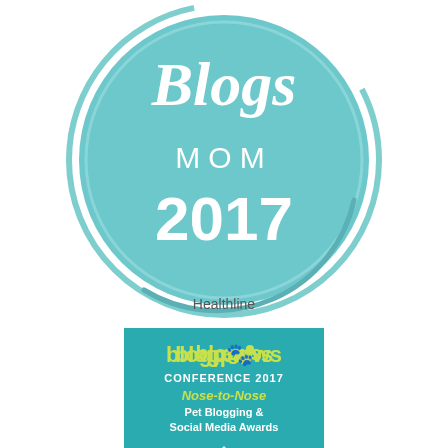[Figure (logo): Healthline Best Blogs Mom 2017 circular badge in teal/aqua color with script 'Blogs' text, 'MOM' in white, and '2017' in bold white. Decorative arc border.]
Healthline
[Figure (logo): BlogPaws Conference 2017 Nose-to-Nose Pet Blogging & Social Media Awards badge in teal with yellow-green accents, white silhouettes of dog, cat and paw print.]